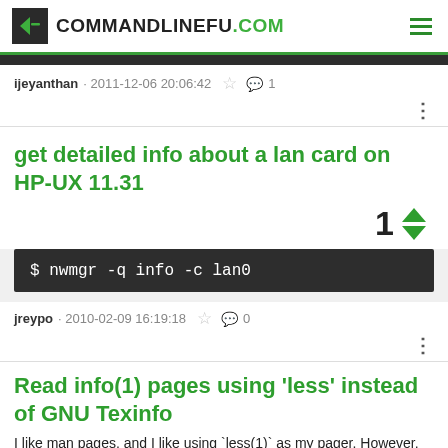COMMANDLINEFU.COM
ijeyanthan · 2011-12-06 20:06:42 ☆ 💬 1
get detailed info about a lan card on HP-UX 11.31
1 (vote count with up/down arrows)
$ nwmgr -q info -c lan0
jreypo · 2010-02-09 16:19:18 ☆ 💬 0
Read info(1) pages using 'less' instead of GNU Texinfo
I like man pages, and I like using `less(1)` as my pager. However, most GNU software keeps the manual in the 'GNU Texinfo' format, and I'm not a fan of the info(1)